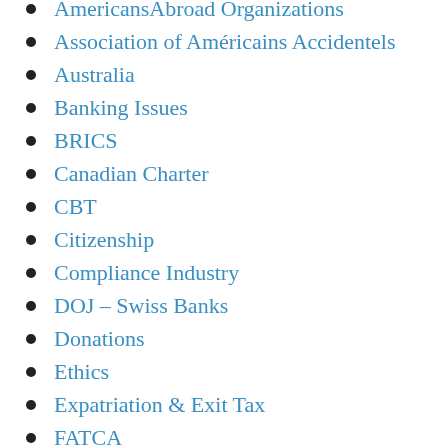AmericansAbroad Organizations
Association of Américains Accidentels
Australia
Banking Issues
BRICS
Canadian Charter
CBT
Citizenship
Compliance Industry
DOJ – Swiss Banks
Donations
Ethics
Expatriation & Exit Tax
FATCA
FBAR
Freedom
French Legal Challenge